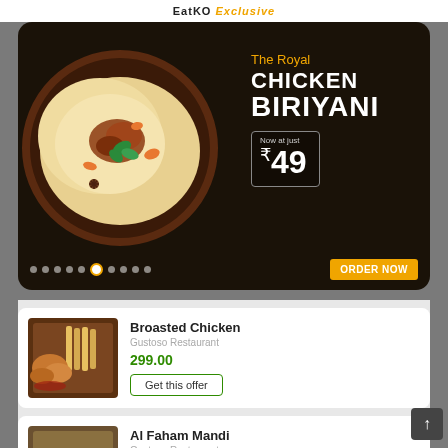EatKO Exclusive
[Figure (photo): Promotional banner showing a bowl of chicken biriyani with text 'The Royal CHICKEN BIRIYANI Now at just ₹49' with ORDER NOW button and carousel dots]
Broasted Chicken
Gustoso Restaurant
299.00
Get this offer
Al Faham Mandi
Gustoso Restaurant
499.00
Get this offer